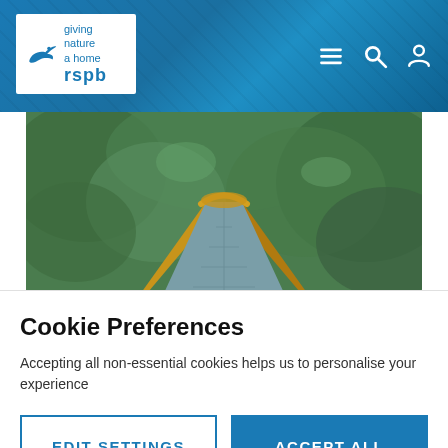rspb - giving nature a home
[Figure (photo): Close-up photo of a bird feeder roof with slate tiles and wooden trim, set against a green leafy background]
sorry pics so rubbish,  I was using the prime 300mm f2.8 (through the rain soaked window) and even that couldn't
Cookie Preferences
Accepting all non-essential cookies helps us to personalise your experience